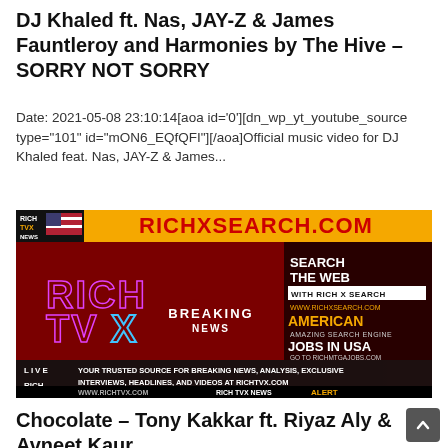DJ Khaled ft. Nas, JAY-Z & James Fauntleroy and Harmonies by The Hive – SORRY NOT SORRY
Date: 2021-05-08 23:10:14[aoa id='0'][dn_wp_yt_youtube_source type="101" id="mON6_EQfQFI"][/aoa]Official music video for DJ Khaled feat. Nas, JAY-Z & James...
[Figure (screenshot): RichTVX News banner showing RICHXSEARCH.COM advertisement with Rich TV breaking news imagery, logos, and text 'SEARCH THE WEB WITH RICH X SEARCH', 'AMERICAN', 'JOBS IN USA', 'YOUR TRUSTED SOURCE FOR BREAKING NEWS, ANALYSIS, EXCLUSIVE INTERVIEWS, HEADLINES, AND VIDEOS AT RICHTVX.COM']
Chocolate – Tony Kakkar ft. Riyaz Aly & Avneet Kaur